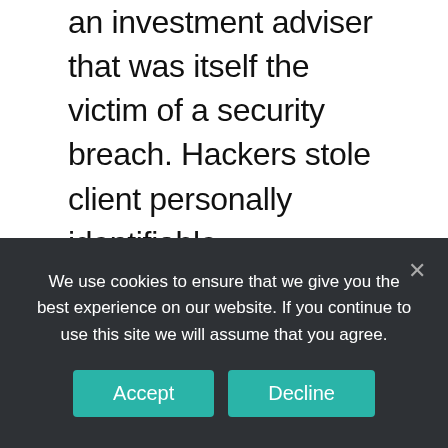an investment adviser that was itself the victim of a security breach. Hackers stole client personally identifiable information (PII). This action made it clear that advisers cannot afford to wait until after a data breach to address cybersecurity issues. R.T. Jones, a St. Louis-based investment adviser, was charged with failing to establish required cybersecurity policies in advance of a data breach that compromised the PII of approximately 100,000 individuals. Between 2009 and 2013, the firm stored sensitive personal information of its clients on a third
We use cookies to ensure that we give you the best experience on our website. If you continue to use this site we will assume that you agree.